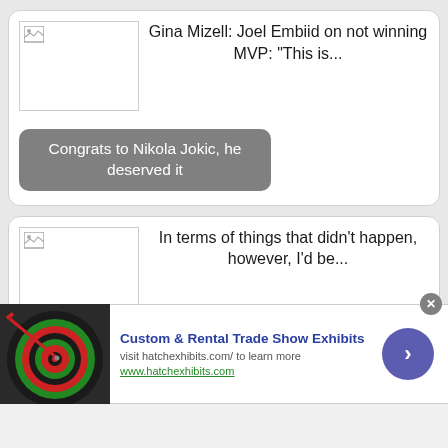Gina Mizell: Joel Embiid on not winning MVP: “This is...
Congrats to Nikola Jokic, he deserved it
In terms of things that didn’t happen, however, I’d be...
James Harden has not opted in
[Figure (photo): Advertisement image showing darts on a dartboard]
Custom & Rental Trade Show Exhibits
visit hatchexhibits.com/ to learn more
www.hatchexhibits.com